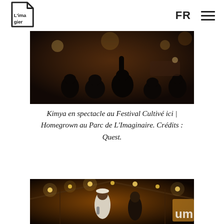L'Imagier | FR ☰
[Figure (photo): Concert audience silhouettes from behind in a dark warm venue, people raising hands, stage lights in background]
Kimya en spectacle au Festival Cultivé ici | Homegrown au Parc de L'Imaginaire. Crédits : Quest.
[Figure (photo): Performer on stage with microphone under string lights in a tent venue, warm amber lighting, another person beside them]